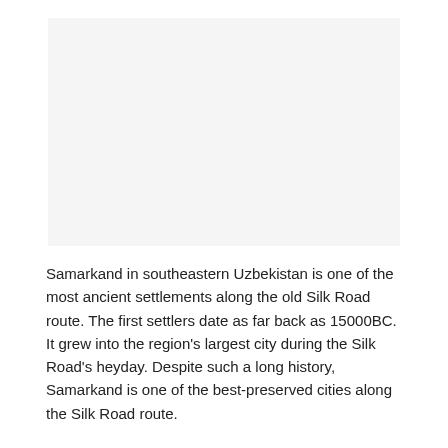[Figure (photo): A large light gray rectangular placeholder image area representing a photo of Samarkand.]
Samarkand in southeastern Uzbekistan is one of the most ancient settlements along the old Silk Road route. The first settlers date as far back as 15000BC. It grew into the region's largest city during the Silk Road's heyday. Despite such a long history, Samarkand is one of the best-preserved cities along the Silk Road route.